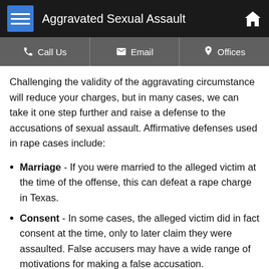Aggravated Sexual Assault
Challenging the validity of the aggravating circumstance will reduce your charges, but in many cases, we can take it one step further and raise a defense to the accusations of sexual assault. Affirmative defenses used in rape cases include:
Marriage - If you were married to the alleged victim at the time of the offense, this can defeat a rape charge in Texas.
Consent - In some cases, the alleged victim did in fact consent at the time, only to later claim they were assaulted. False accusers may have a wide range of motivations for making a false accusation.
No coercion - If there was no force used, threats